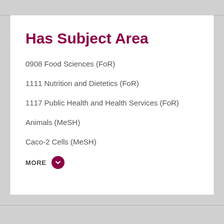Has Subject Area
0908 Food Sciences (FoR)
1111 Nutrition and Dietetics (FoR)
1117 Public Health and Health Services (FoR)
Animals (MeSH)
Caco-2 Cells (MeSH)
MORE